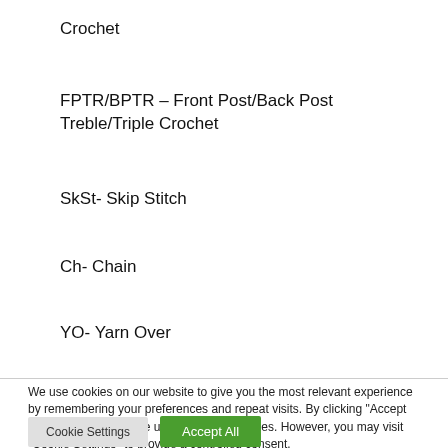Crochet
FPTR/BPTR – Front Post/Back Post Treble/Triple Crochet
SkSt- Skip Stitch
Ch- Chain
YO- Yarn Over
We use cookies on our website to give you the most relevant experience by remembering your preferences and repeat visits. By clicking "Accept All", you consent to the use of ALL the cookies. However, you may visit "Cookie Settings" to provide a controlled consent.